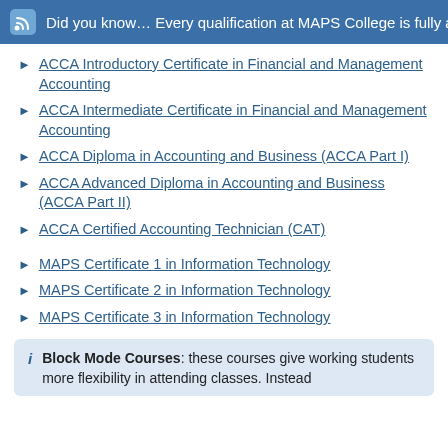Did you know… Every qualification at MAPS College is fully approved by
ACCA Introductory Certificate in Financial and Management Accounting
ACCA Intermediate Certificate in Financial and Management Accounting
ACCA Diploma in Accounting and Business (ACCA Part I)
ACCA Advanced Diploma in Accounting and Business (ACCA Part II)
ACCA Certified Accounting Technician (CAT)
MAPS Certificate 1 in Information Technology
MAPS Certificate 2 in Information Technology
MAPS Certificate 3 in Information Technology
Block Mode Courses: these courses give working students more flexibility in attending classes. Instead